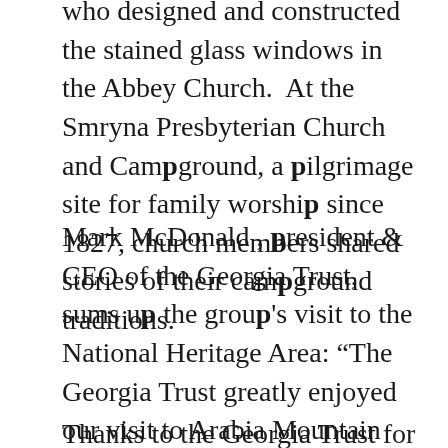who designed and constructed the stained glass windows in the Abbey Church. At the Smryna Presbyterian Church and Campground, a pilgrimage site for family worship since 1827, church members shared stories of their campground traditions.
Mark McDonald , president & CEO of the Georgia Trust, sums up the group's visit to the National Heritage Area: “The Georgia Trust greatly enjoyed our visit to Arabia Mountain and to the historic and cultural sites in the area. Many of our members have commented on the rich heritage of this part of DeKalb County and remarked on what an undiscovered jewel it is.”
Thanks to the Georgia Trust for recognizing the